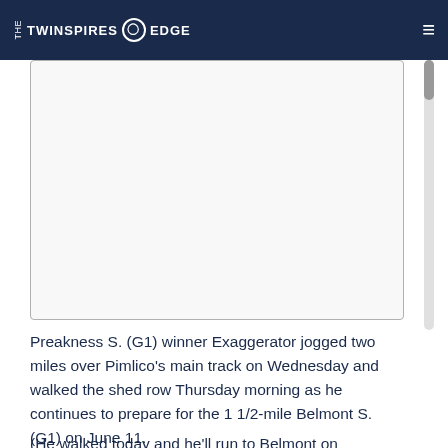THE TWINSPIRES EDGE
[Figure (photo): A photograph or image placeholder with a light gray background and thin border, likely showing Exaggerator the racehorse.]
Preakness S. (G1) winner Exaggerator jogged two miles over Pimlico’s main track on Wednesday and walked the shed row Thursday morning as he continues to prepare for the 1 1/2-mile Belmont S. (G1) on June 11.
(He walked today and he’ll run to Belmont on